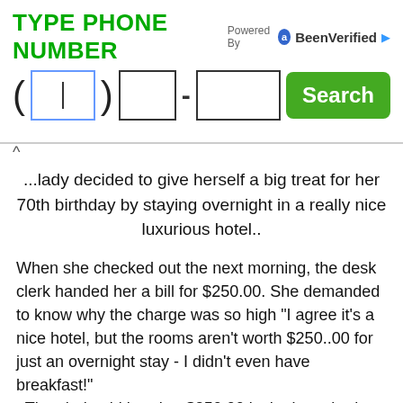[Figure (screenshot): Phone number lookup ad banner with 'TYPE PHONE NUMBER' heading in green, input fields for area code, prefix, and number, a green Search button, and 'Powered By BeenVerified' logo on the right.]
...lady decided to give herself a big treat for her 70th birthday by staying overnight in a really nice luxurious hotel..
When she checked out the next morning, the desk clerk handed her a bill for $250.00. She demanded to know why the charge was so high "I agree it's a nice hotel, but the rooms aren't worth $250..00 for just an overnight stay - I didn't even have breakfast!" The clerk told her that $250.00 is the 'standard rate,' and breakfast had been included had she wanted it.
She insisted on...